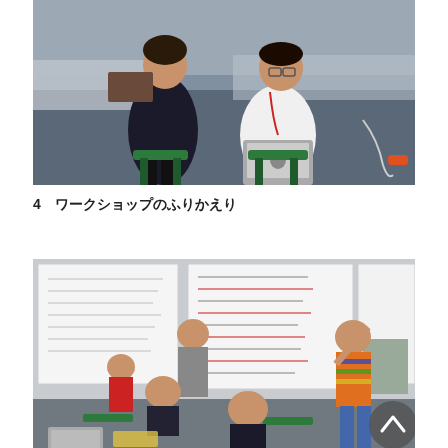[Figure (photo): Two people sitting in an office/classroom setting with green chairs. A woman on the left making a peace sign, and a man on the right holding a laptop. Blue-gray carpet, white desks visible in background.]
4　ワークショップのふりかえり
[Figure (photo): Group of people in a classroom/workshop setting. Whiteboards covered in Japanese writing visible. A person in an orange striped shirt stands at the board on the right. Others are seated or standing, watching. A circular back-to-top button overlay is visible in the bottom right corner.]